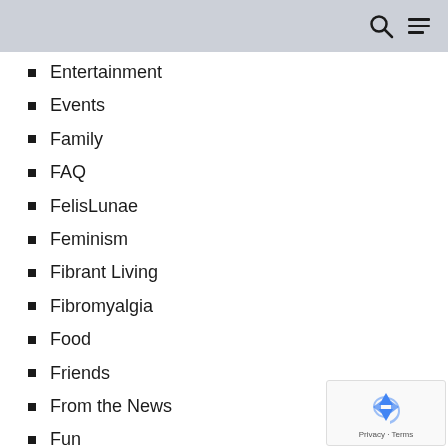Entertainment
Events
Family
FAQ
FelisLunae
Feminism
Fibrant Living
Fibromyalgia
Food
Friends
From the News
Fun